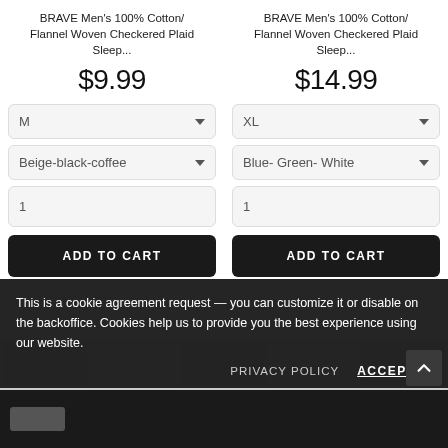BRAVE Men's 100% Cotton/ Flannel Woven Checkered Plaid Sleep...
BRAVE Men's 100% Cotton/ Flannel Woven Checkered Plaid Sleep...
$9.99
$14.99
M
XL
Beige-black-coffee
Blue- Green- White
1
1
ADD TO CART
ADD TO CART
This is a cookie agreement request — you can customize it or disable on the backoffice. Cookies help us to provide you the best experience using our website.
PRIVACY POLICY
ACCEPT ✓